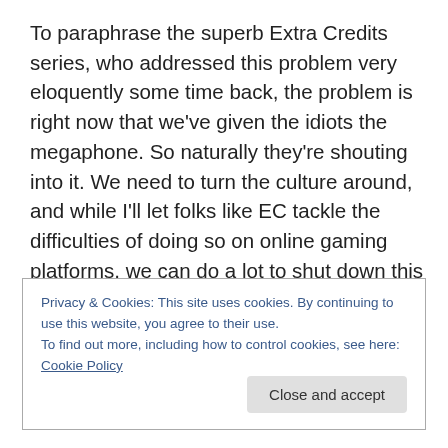To paraphrase the superb Extra Credits series, who addressed this problem very eloquently some time back, the problem is right now that we've given the idiots the megaphone. So naturally they're shouting into it. We need to turn the culture around, and while I'll let folks like EC tackle the difficulties of doing so on online gaming platforms, we can do a lot to shut down this bullshit in our gaming groups and at our geek events. So the next time you hear someone talking about “raping the other team” in
Privacy & Cookies: This site uses cookies. By continuing to use this website, you agree to their use.
To find out more, including how to control cookies, see here: Cookie Policy